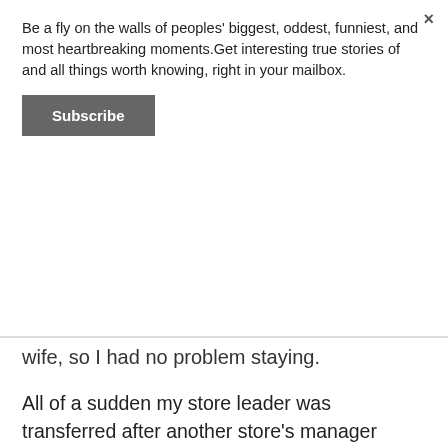Be a fly on the walls of peoples' biggest, oddest, funniest, and most heartbreaking moments.Get interesting true stories of and all things worth knowing, right in your mailbox.
Subscribe
wife, so I had no problem staying.
All of a sudden my store leader was transferred after another store's manager walked out. Normally, another manager I liked would have been promoted - but as this was unexpected he had just been promoted elsewhere, and they had to get the 3rd in command manager to become the store leader.
Third in command is someone who is hyper-